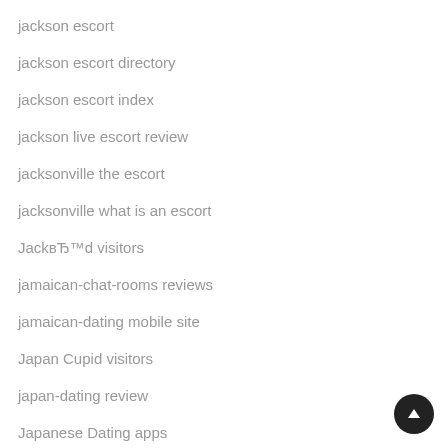jackson escort
jackson escort directory
jackson escort index
jackson live escort review
jacksonville the escort
jacksonville what is an escort
JackвЂ™d visitors
jamaican-chat-rooms reviews
jamaican-dating mobile site
Japan Cupid visitors
japan-dating review
Japanese Dating apps
Japanese Dating site